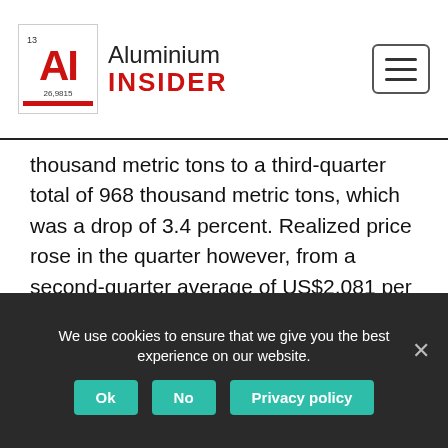Aluminium Insider
thousand metric tons to a third-quarter total of 968 thousand metric tons, which was a drop of 3.4 percent. Realized price rose in the quarter however, from a second-quarter average of US$2,081 per metric ton to a third-quarter take of US$2,124, which is a rise of 2.1 percent. Rusal chalks up the fall in sales to an increase in goods in transit due to shipping
We use cookies to ensure that we give you the best experience on our website.